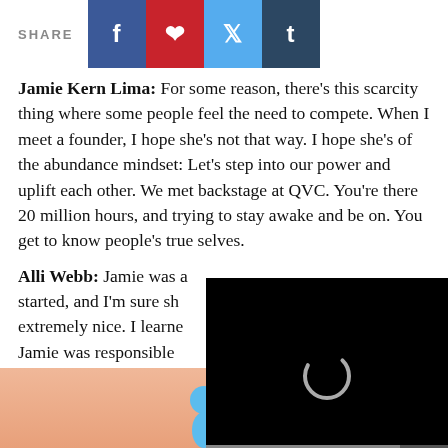SHARE [Facebook] [Pinterest] [Twitter] [Tumblr]
Jamie Kern Lima: For some reason, there's this scarcity thing where some people feel the need to compete. When I meet a founder, I hope she's not that way. I hope she's of the abundance mindset: Let's step into our power and uplift each other. We met backstage at QVC. You're there 20 million hours, and trying to stay awake and be on. You get to know people's true selves.
Alli Webb: Jamie was a started, and I'm sure sh extremely nice. I learned Jamie was responsible We do them with hair that with makeup. Jam to QVC, she was warm, welcoming and complimentary of Drybar. Lashes are hair, so it makes sense. I have such
[Figure (screenshot): Video player overlay with loading spinner, progress bar, and controls showing 02:16 timestamp, mute button, CC button, and expand button]
-->
[Figure (photo): Advertisement banner with cartoon figures and skin-tone background with close/help buttons]